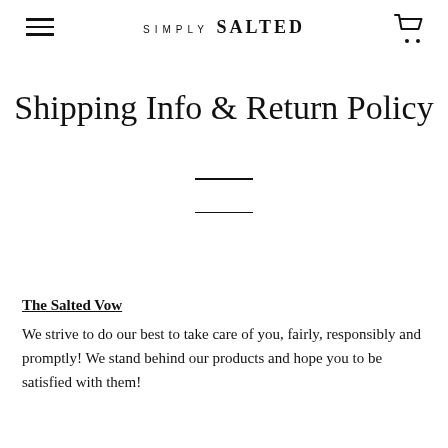simply SALTED
Shipping Info & Return Policy
The Salted Vow
We strive to do our best to take care of you, fairly, responsibly and promptly! We stand behind our products and hope you to be satisfied with them!